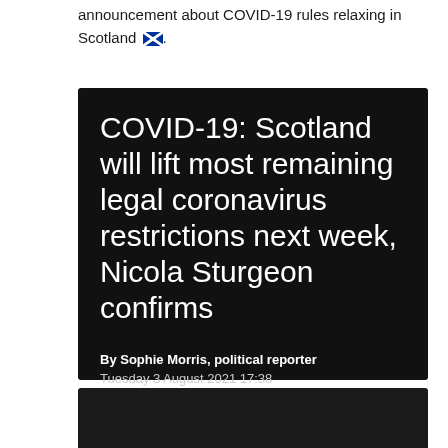announcement about COVID-19 rules relaxing in Scotland 🏴󠁧󠁢󠁳󠁣󠁴󠁿.
[Figure (screenshot): BBC News article screenshot on dark background. Headline: 'COVID-19: Scotland will lift most remaining legal coronavirus restrictions next week, Nicola Sturgeon confirms'. Byline: By Sophie Morris, political reporter. Date: Tuesday 3 August 2021 17:38]